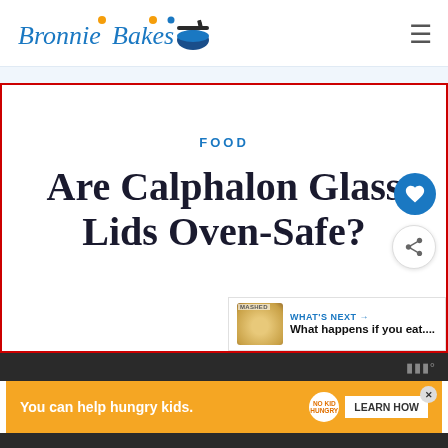Bronnie Bakes
FOOD
Are Calphalon Glass Lids Oven-Safe?
WHAT'S NEXT → What happens if you eat....
You can help hungry kids. LEARN HOW